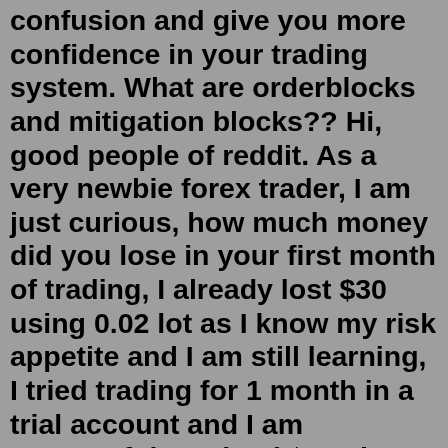confusion and give you more confidence in your trading system. What are orderblocks and mitigation blocks?? Hi, good people of reddit. As a very newbie forex trader, I am just curious, how much money did you lose in your first month of trading, I already lost $30 using 0.02 lot as I know my risk appetite and I am still learning, I tried trading for 1 month in a trial account and I am successful, I gained $300 in my trial account with a $1000 capital given. Dec 19, 2021 · In this video I will be showing you the difference between a VALID and INVALID order block, and how to identify the two. I see so much confusion around which order block is the right one to use. This video will clear up all of the confusion and give you more confidence in your trading system. MITIGATION BLOCK FOREX. Mitigation block are levels where blocks of major support and resistance zones failed. Another term for it is a failed market structure. Mitigation blocks are manipulative markets and should be avoided if possible. How to create a High Frequency Trading System for the